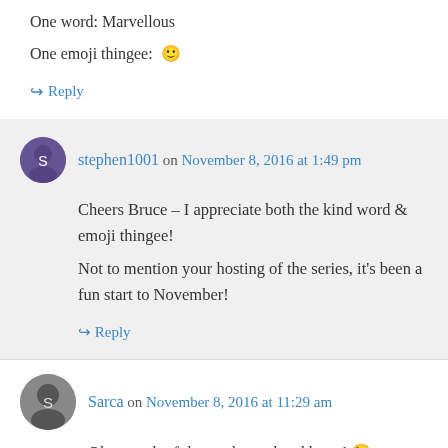One word: Marvellous
One emoji thingee: 🙂
↪ Reply
stephen1001 on November 8, 2016 at 1:49 pm
Cheers Bruce – I appreciate both the kind word & emoji thingee! Not to mention your hosting of the series, it's been a fun start to November!
↪ Reply
Sarca on November 8, 2016 at 11:29 am
Ok enough of the math, my head hurts! 😉